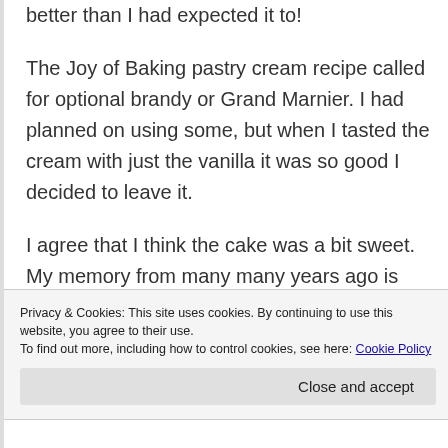better than I had expected it to!

The Joy of Baking pastry cream recipe called for optional brandy or Grand Marnier. I had planned on using some, but when I tasted the cream with just the vanilla it was so good I decided to leave it.

I agree that I think the cake was a bit sweet. My memory from many many years ago is that the cake part wasn't very sweet. Even as a child, I preferred it that way.
Privacy & Cookies: This site uses cookies. By continuing to use this website, you agree to their use.
To find out more, including how to control cookies, see here: Cookie Policy
Close and accept